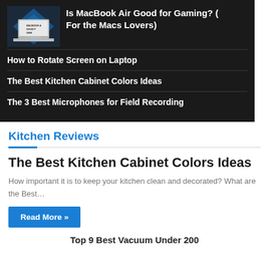[Figure (screenshot): Dark navigation panel showing a MacBook Air thumbnail image with blue diamond design overlay, and article links listed below]
Is MacBook Air Good for Gaming? (For the Macs Lovers)
How to Rotate Screen on Laptop
The Best Kitchen Cabinet Colors Ideas
The 3 Best Microphones for Field Recording
Kitchen Reviews
The Best Kitchen Cabinet Colors Ideas
How important it is to keep your kitchen clean and decorated? What are the Best…
Read More »
Top 9 Best Vacuum Under 200